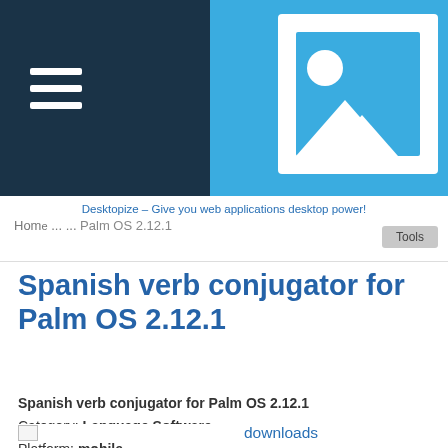[Figure (screenshot): Blue header bar with dark navy left panel containing a hamburger menu icon, and a white image placeholder icon (mountains/landscape) centered on the blue portion]
Desktopize – Give you web applications desktop power!
Home ... Palm OS 2.12.1   Tools
Spanish verb conjugator for Palm OS 2.12.1
Spanish verb conjugator for Palm OS 2.12.1
Category: Language Software
Platform: mobile
License: Purchase
Publisher: BEIKS
downloads